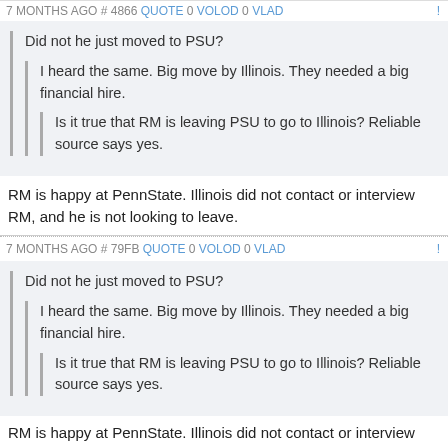7 MONTHS AGO # 4866 QUOTE 0 VOLOD 0 VLAD
Did not he just moved to PSU?
I heard the same. Big move by Illinois. They needed a big financial hire.
Is it true that RM is leaving PSU to go to Illinois? Reliable source says yes.
RM is happy at PennState. Illinois did not contact or interview RM, and he is not looking to leave.
7 MONTHS AGO # 79FB QUOTE 0 VOLOD 0 VLAD
Did not he just moved to PSU?
I heard the same. Big move by Illinois. They needed a big financial hire.
Is it true that RM is leaving PSU to go to Illinois? Reliable source says yes.
RM is happy at PennState. Illinois did not contact or interview RM, and he is not looking to leave.